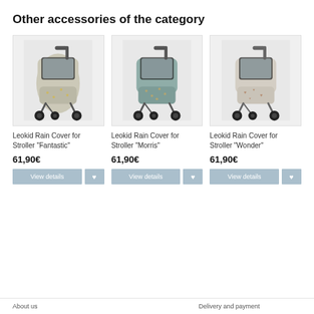Other accessories of the category
[Figure (photo): Leokid rain cover for stroller in beige/grey 'Fantastic' pattern, shown on a stroller with transparent window and black wheels, grey background]
[Figure (photo): Leokid rain cover for stroller in teal/green 'Morris' pattern, shown on a stroller with transparent window and black wheels, grey background]
[Figure (photo): Leokid rain cover for stroller in beige/cream 'Wonder' pattern, shown on a stroller with transparent window and black wheels, grey background]
Leokid Rain Cover for Stroller “Fantastic”
Leokid Rain Cover for Stroller “Morris”
Leokid Rain Cover for Stroller “Wonder”
61,90€
61,90€
61,90€
About us   Delivery and payment